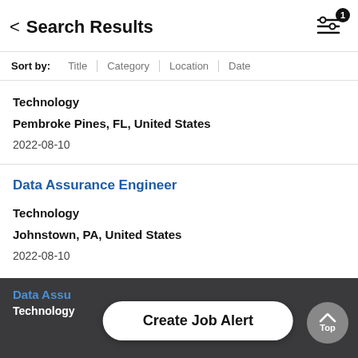Search Results
Sort by: Title | Category | Location | Date
Technology
Pembroke Pines, FL, United States
2022-08-10
Data Assurance Engineer
Technology
Johnstown, PA, United States
2022-08-10
Data Assu...
Technology
Create Job Alert